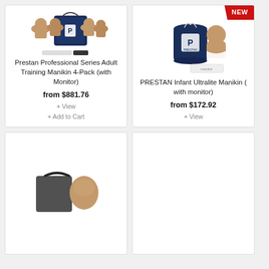[Figure (photo): Prestan Professional Series Adult Training Manikin 4-Pack with Monitor — four torso manikins and a carrying case]
Prestan Professional Series Adult Training Manikin 4-Pack (with Monitor)
from $881.76
+ View
+ Add to Cart
[Figure (photo): PRESTAN Infant Ultralite Manikin with monitor — infant manikin with navy drawstring bag]
PRESTAN Infant Ultralite Manikin ( with monitor)
from $172.92
+ View
[Figure (photo): Partial view of another CPR manikin product — bottom card left, partially visible]
[Figure (photo): Partial view of another product — bottom card right, partially visible]